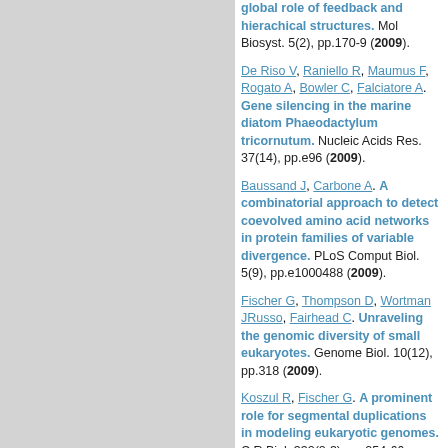global role of feedback and hierachical structures. Mol Biosyst. 5(2), pp.170-9 (2009).
De Riso V, Raniello R, Maumus F, Rogato A, Bowler C, Falciatore A. Gene silencing in the marine diatom Phaeodactylum tricornutum. Nucleic Acids Res. 37(14), pp.e96 (2009).
Baussand J, Carbone A. A combinatorial approach to detect coevolved amino acid networks in protein families of variable divergence. PLoS Comput Biol. 5(9), pp.e1000488 (2009).
Fischer G, Thompson D, Wortman JRusso, Fairhead C. Unraveling the genomic diversity of small eukaryotes. Genome Biol. 10(12), pp.318 (2009).
Koszul R, Fischer G. A prominent role for segmental duplications in modeling eukaryotic genomes. C R Biol. 332(2-3), pp.254-66 (2009).
Payen C, Fischer G, Marck C, Proux C, Sherman DJames, ...